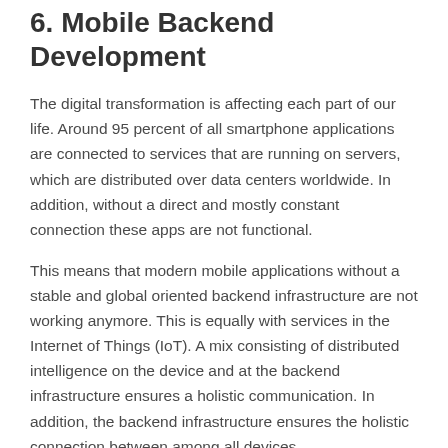6. Mobile Backend Development
The digital transformation is affecting each part of our life. Around 95 percent of all smartphone applications are connected to services that are running on servers, which are distributed over data centers worldwide. In addition, without a direct and mostly constant connection these apps are not functional.
This means that modern mobile applications without a stable and global oriented backend infrastructure are not working anymore. This is equally with services in the Internet of Things (IoT). A mix consisting of distributed intelligence on the device and at the backend infrastructure ensures a holistic communication. In addition, the backend infrastructure ensures the holistic connection between among all devices.
For this a public cloud infrastructure provides the ideal foundation. On the one hand the leading providers are